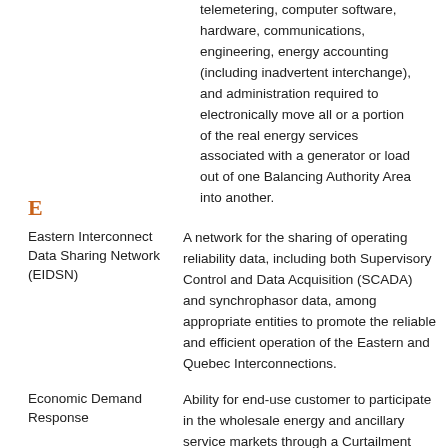telemetering, computer software, hardware, communications, engineering, energy accounting (including inadvertent interchange), and administration required to electronically move all or a portion of the real energy services associated with a generator or load out of one Balancing Authority Area into another.
E
Eastern Interconnect Data Sharing Network (EIDSN)
A network for the sharing of operating reliability data, including both Supervisory Control and Data Acquisition (SCADA) and synchrophasor data, among appropriate entities to promote the reliable and efficient operation of the Eastern and Quebec Interconnections.
Economic Demand Response
Ability for end-use customer to participate in the wholesale energy and ancillary service markets through a Curtailment Service